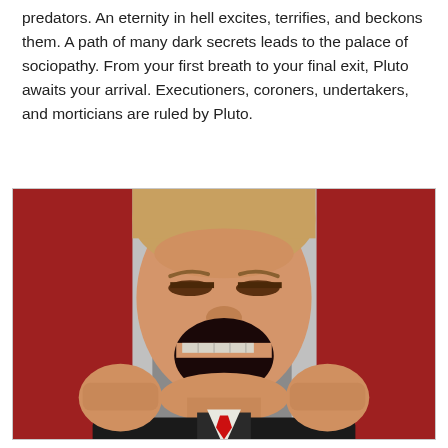predators. An eternity in hell excites, terrifies, and beckons them. A path of many dark secrets leads to the palace of sociopathy. From your first breath to your final exit, Pluto awaits your arrival. Executioners, coroners, undertakers, and morticians are ruled by Pluto.
[Figure (photo): A photo of a man with blond hair, mouth wide open in a yell, both fists raised, wearing a dark suit with a red tie.]